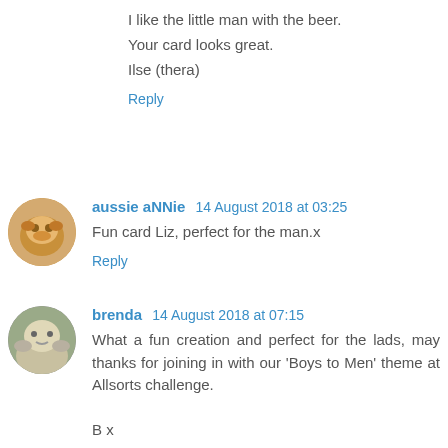I like the little man with the beer.
Your card looks great.
Ilse (thera)
Reply
aussie aNNie  14 August 2018 at 03:25
Fun card Liz, perfect for the man.x
Reply
brenda  14 August 2018 at 07:15
What a fun creation and perfect for the lads, may thanks for joining in with our 'Boys to Men' theme at Allsorts challenge.

B x
Reply